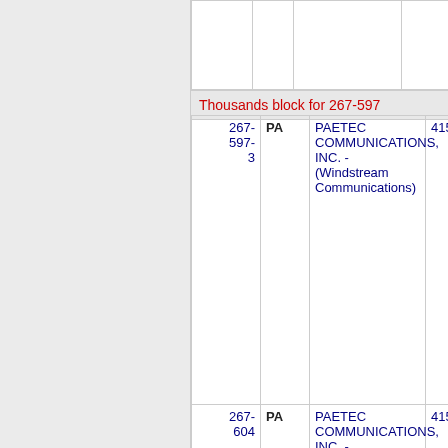| Number | State | Company | Code |
| --- | --- | --- | --- |
| 267-
597-
3 | PA | PAETEC COMMUNICATIONS, INC. - (Windstream Communications) | 4153 |
| 267-
604 | PA | PAETEC COMMUNICATIONS, INC. - (Windstream Communications) | 4153 |